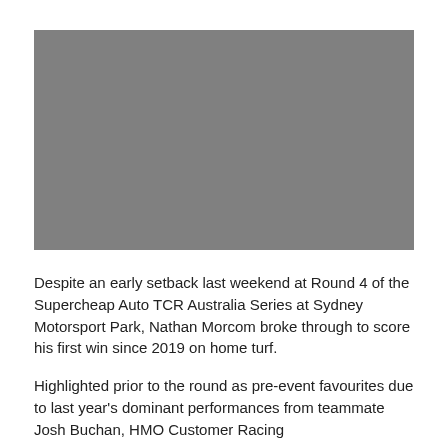[Figure (photo): A grey placeholder image representing a photo from the Supercheap Auto TCR Australia Series at Sydney Motorsport Park]
Despite an early setback last weekend at Round 4 of the Supercheap Auto TCR Australia Series at Sydney Motorsport Park, Nathan Morcom broke through to score his first win since 2019 on home turf.
Highlighted prior to the round as pre-event favourites due to last year's dominant performances from teammate Josh Buchan, HMO Customer Racing